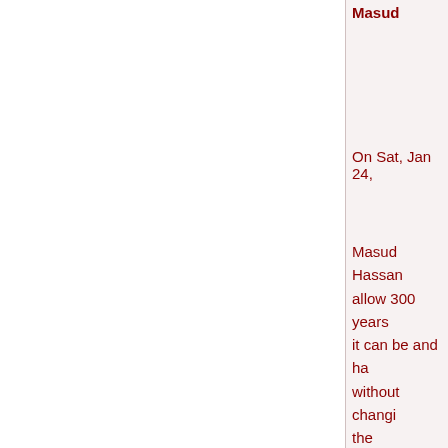Masud
On Sat, Jan 24,
Masud Hassan allow 300 years it can be and ha without changi the constitutio academic quali military acade minimum of 15 Clean bill of fin present day pa in responsible p family member experience – n lawyers, accou etc. to be the m we have today